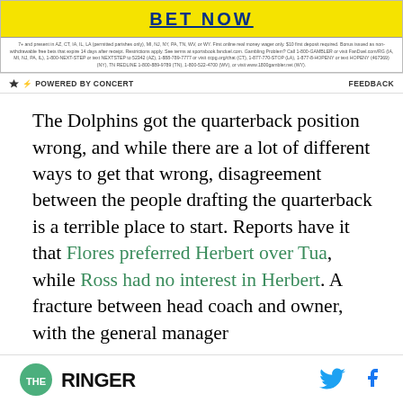[Figure (other): Advertisement banner with yellow background and 'BET NOW' text in blue]
7+ and present in AZ, CT, IA, IL, LA (permitted parishes only), MI, NJ, NY, PA, TN, WV, or WY. First online real money wager only. $10 first deposit required. Bonus issued as non-withdrawable free bets that expire 14 days after receipt. Restrictions apply. See terms at sportsbook.fanduel.com. Gambling Problem? Call 1-800-GAMBLER or visit FanDuelcom/RG (IA, MI, NJ, PA, IL), 1-800-NEXT-STEP or text NEXTSTEP to 52342 (AZ), 1-888-789-7777 or visit ccpg.org/chat (CT), 1-877-770-STOP (LA), 1-877-8-HOPENY or text HOPENY (467369) (NY), TN REDLINE 1-800-889-9789 (TN), 1-800-522-4700 (WV), or visit www.1800gambler.net (WY).
⚡ POWERED BY CONCERT   FEEDBACK
The Dolphins got the quarterback position wrong, and while there are a lot of different ways to get that wrong, disagreement between the people drafting the quarterback is a terrible place to start. Reports have it that Flores preferred Herbert over Tua, while Ross had no interest in Herbert. A fracture between head coach and owner, with the general manager
THE RINGER  [Twitter icon] [Facebook icon]